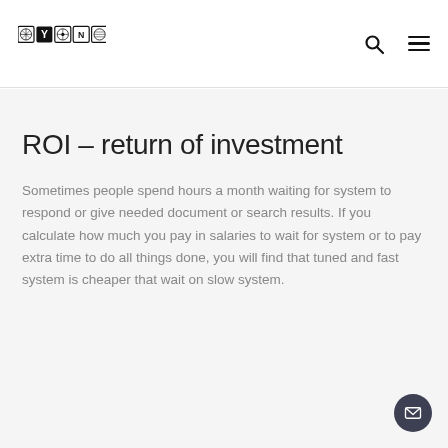CYONE [logo with navigation icons]
ROI – return of investment
Sometimes people spend hours a month waiting for system to respond or give needed document or search results. If you calculate how much you pay in salaries to wait for system or to pay extra time to do all things done, you will find that tuned and fast system is cheaper that wait on slow system.